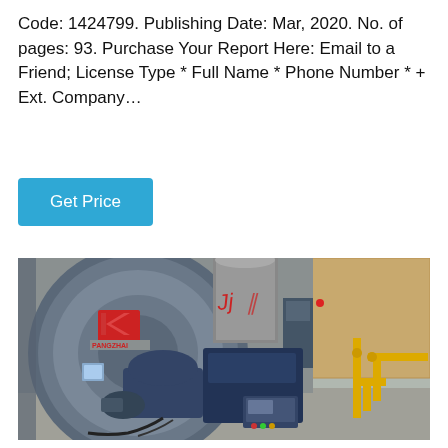Code: 1424799. Publishing Date: Mar, 2020. No. of pages: 93. Purchase Your Report Here: Email to a Friend; License Type * Full Name * Phone Number * + Ext. Company…
Get Price
[Figure (photo): Industrial equipment photo showing a large blue centrifugal fan/blower unit with 'PANGZHAI' branding in red, connected to a cylindrical duct/stack, with control panel and yellow gas piping infrastructure in an industrial building setting.]